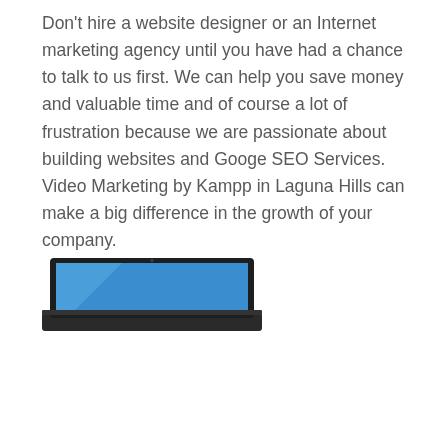Don't hire a website designer or an Internet marketing agency until you have had a chance to talk to us first. We can help you save money and valuable time and of course a lot of frustration because we are passionate about building websites and Googe SEO Services. Video Marketing by Kampp in Laguna Hills can make a big difference in the growth of your company.
[Figure (photo): Partial view of a laptop computer shown at an angle, with a dark frame and blue screen visible, cropped at the bottom of the image.]